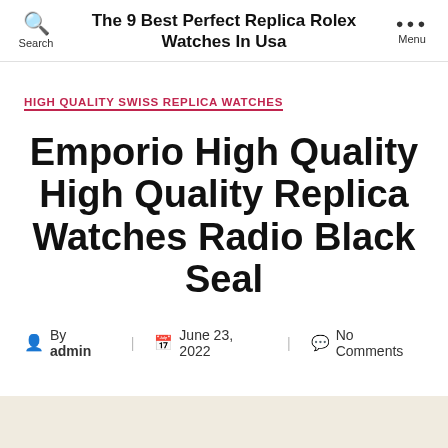The 9 Best Perfect Replica Rolex Watches In Usa
HIGH QUALITY SWISS REPLICA WATCHES
Emporio High Quality High Quality Replica Watches Radio Black Seal
By admin   June 23, 2022   No Comments